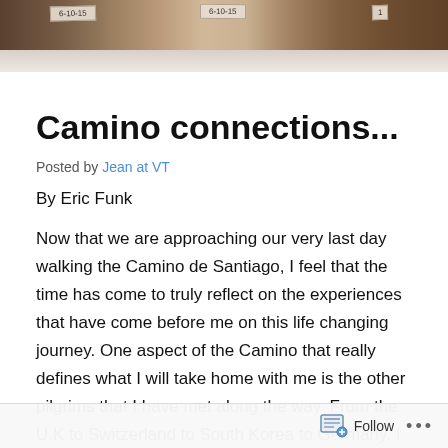[Figure (photo): Photograph strip showing what appears to be paper labels or tags with handwritten dates (6-10-15), brownish/warm tones]
Camino connections...
Posted by Jean at VT
By Eric Funk
Now that we are approaching our very last day walking the Camino de Santiago, I feel that the time has come to truly reflect on the experiences that have come before me on this life changing journey. One aspect of the Camino that really defines what I will take home with me is the other pilgrims that I have met along the way. From the U.K to Switzerland to South Korea to Germany, I have met and walked with people from all walks of life, and around the
Follow ...